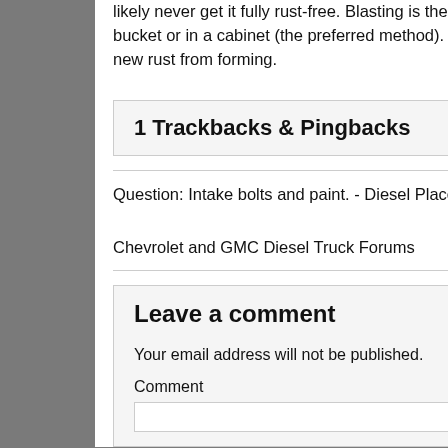likely never get it fully rust-free. Blasting is the most common method, and can be done with a cheap blaster-in-a-bucket or in a cabinet (the preferred method). Once blasted, you want to coat the manifold immediately to prevent new rust from forming.
1 Trackbacks & Pingbacks
Question: Intake bolts and paint. - Diesel Place :

Chevrolet and GMC Diesel Truck Forums
Leave a comment
Your email address will not be published.
Comment